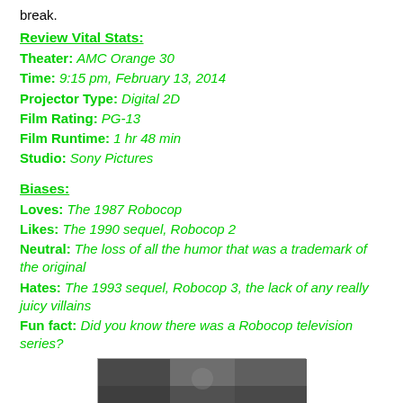break.
Review Vital Stats:
Theater: AMC Orange 30
Time: 9:15 pm, February 13, 2014
Projector Type: Digital 2D
Film Rating: PG-13
Film Runtime: 1 hr 48 min
Studio: Sony Pictures
Biases:
Loves: The 1987 Robocop
Likes: The 1990 sequel, Robocop 2
Neutral: The loss of all the humor that was a trademark of the original
Hates: The 1993 sequel, Robocop 3, the lack of any really juicy villains
Fun fact: Did you know there was a Robocop television series?
[Figure (photo): Partial photo at the bottom of the page, dark cinematic still]